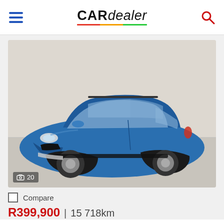CARdealer
[Figure (photo): Blue Kia Sportage SUV photographed in a showroom setting, front three-quarter view. Badge shows 20 photos.]
Compare
R399,900 | 15 718km